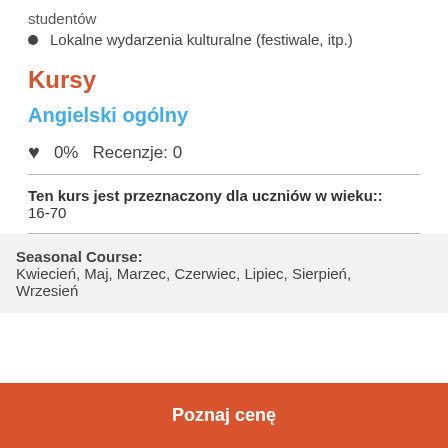studentów
Lokalne wydarzenia kulturalne (festiwale, itp.)
Kursy
Angielski ogólny
♥ 0%   Recenzje: 0
Ten kurs jest przeznaczony dla uczniów w wieku:: 16-70
Seasonal Course:
Kwiecień, Maj, Marzec, Czerwiec, Lipiec, Sierpień, Wrzesień
Poznaj cenę